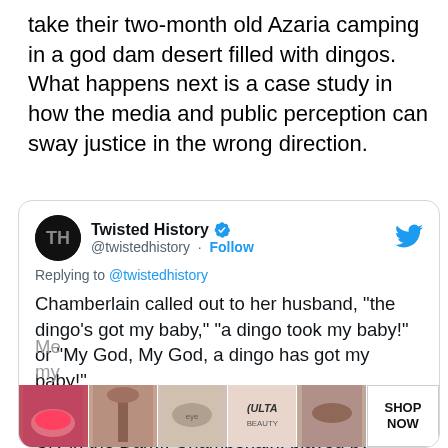take their two-month old Azaria camping in a god dam desert filled with dingos. What happens next is a case study in how the media and public perception can sway justice in the wrong direction.
[Figure (screenshot): Embedded tweet from @twistedhistory (Twisted History, verified account) replying to @twistedhistory. Tweet text: Chamberlain called out to her husband, "the dingo's got my baby," "a dingo took my baby!" or "My God, My God, a dingo has got my baby!" In the 1988 film Evil Angels (also known as A Cry in the Dark), Chamberlain, played by Me[ryl Streep said] my [baby...]. An advertisement banner for ULTA beauty with SHOP NOW button overlays the bottom of the tweet.]